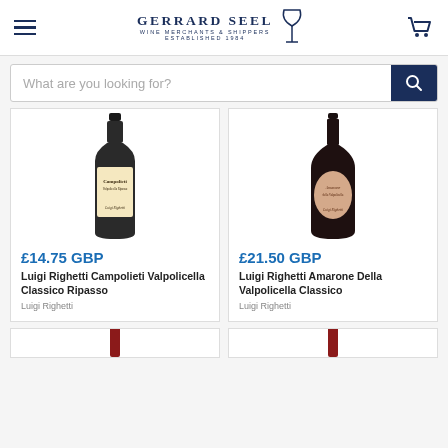Gerrard Seel Wine Merchants & Shippers Established 1984
What are you looking for?
[Figure (photo): Wine bottle with Campolieti label]
£14.75 GBP
Luigi Righetti Campolieti Valpolicella Classico Ripasso
Luigi Righetti
[Figure (photo): Wine bottle with Amarone label]
£21.50 GBP
Luigi Righetti Amarone Della Valpolicella Classico
Luigi Righetti
[Figure (photo): Partial wine bottle top visible at bottom left]
[Figure (photo): Partial wine bottle top visible at bottom right]